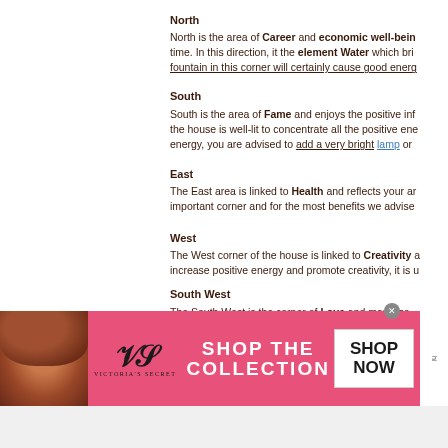North
North is the area of Career and economic well-being time. In this direction, it the element Water which bri fountain in this corner will certainly cause good energ
South
South is the area of Fame and enjoys the positive inf the house is well-lit to concentrate all the positive ene energy, you are advised to add a very bright lamp or
East
The East area is linked to Health and reflects your ar important corner and for the most benefits we advise
West
The West corner of the house is linked to Creativity a increase positive energy and promote creativity, it is u
South West
The South West is the corner of Love and marriage. fill it with positive vibrations which only fire and light c of love.
North West
[Figure (illustration): Victoria's Secret advertisement banner with model, VS logo, 'SHOP THE COLLECTION' text and 'SHOP NOW' button on pink background]